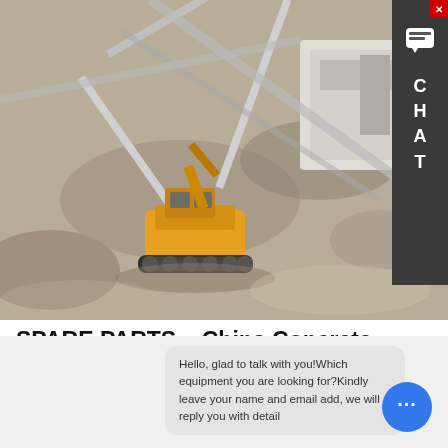[Figure (photo): Aerial view of a yellow excavator/crawler crane at a mining or construction site with crushed stone, conveyor belts, and heavy machinery]
SPARE PARTS – China Concrete Placing Boom manufacturer
China SPARE PARTS catalog of Concrete Placing Boom 32m Inner Clim , Building Cleaning Hoist Scaffolding Platform (ZLP 100) provided by China manufacturer - Zhejiang Truemax Engineering Co.,
LEARN MORE
Hello, glad to talk with you!Which equipment you are looking for?Kindly leave your name and email add, we will reply you with detail